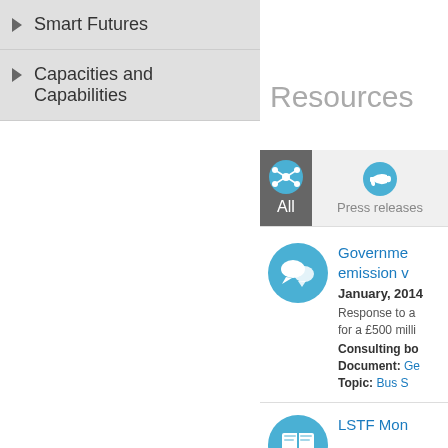Smart Futures
Capacities and Capabilities
Resources
[Figure (screenshot): Filter tabs: All (active, dark background) and Press releases (light background), each with an icon]
Government emission v... January, 2014 Response to a... for a £500 milli... Consulting bo... Document: Ge... Topic: Bus S...
LSTF Mon...